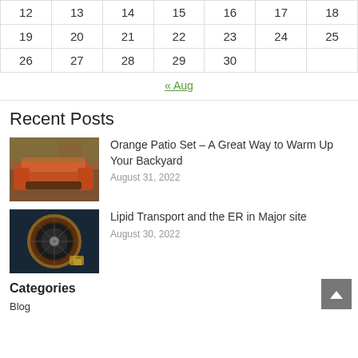| 12 | 13 | 14 | 15 | 16 | 17 | 18 |
| 19 | 20 | 21 | 22 | 23 | 24 | 25 |
| 26 | 27 | 28 | 29 | 30 |  |  |
« Aug
Recent Posts
[Figure (photo): Orange patio furniture set with sofa and chairs in an outdoor wooded setting]
Orange Patio Set – A Great Way to Warm Up Your Backyard
August 31, 2022
[Figure (photo): A roulette wheel on a casino table with chips]
Lipid Transport and the ER in Major site
August 30, 2022
Categories
Blog